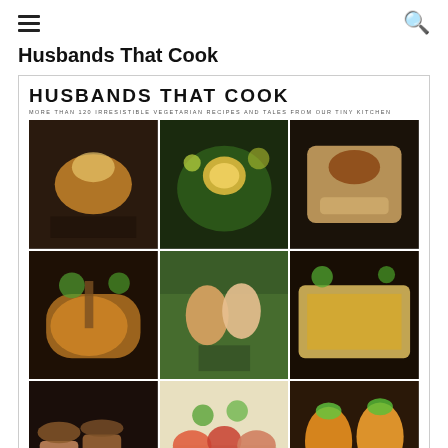≡  🔍
Husbands That Cook
[Figure (photo): Book cover of 'Husbands That Cook' featuring the title in bold black letters, subtitle 'More than 120 Irresistible Vegetarian Recipes and Tales from Our Tiny Kitchen', a 3x3 grid of food and author photos, and authors Ryan Alvarez and Adam Merrin at the bottom.]